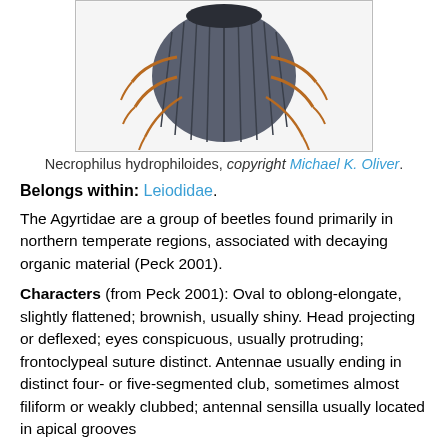[Figure (photo): Underside photograph of Necrophilus hydrophiloides beetle showing ridged elytra and brown legs on white background]
Necrophilus hydrophiloides, copyright Michael K. Oliver.
Belongs within: Leiodidae.
The Agyrtidae are a group of beetles found primarily in northern temperate regions, associated with decaying organic material (Peck 2001).
Characters (from Peck 2001): Oval to oblong-elongate, slightly flattened; brownish, usually shiny. Head projecting or deflexed; eyes conspicuous, usually protruding; frontoclypeal suture distinct. Antennae usually ending in distinct four- or five-segmented club, sometimes almost filiform or weakly clubbed; antennal sensilla usually located in apical grooves